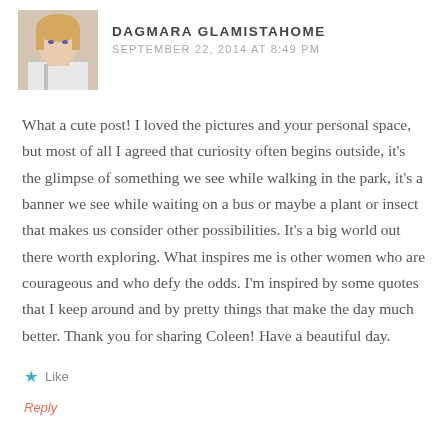[Figure (photo): Avatar photo of a blonde woman]
DAGMARA GLAMISTAHOME
SEPTEMBER 22, 2014 AT 8:49 PM
What a cute post! I loved the pictures and your personal space, but most of all I agreed that curiosity often begins outside, it's the glimpse of something we see while walking in the park, it's a banner we see while waiting on a bus or maybe a plant or insect that makes us consider other possibilities. It's a big world out there worth exploring. What inspires me is other women who are courageous and who defy the odds. I'm inspired by some quotes that I keep around and by pretty things that make the day much better. Thank you for sharing Coleen! Have a beautiful day.
Like
Reply